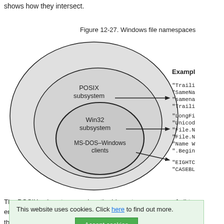shows how they intersect.
Figure 12-27. Windows file namespaces
[Figure (infographic): Venn diagram showing three nested circles. Outermost circle labeled 'POSIX subsystem', middle circle labeled 'Win32 subsystem', innermost circle labeled 'MS-DOS–Windows clients'. Arrows point right to examples column. POSIX subsystem arrow points to: "Traili, "SameNa, "samena, "Traili. Win32 subsystem arrow points to: "LongFi, "Unicod, "File.N, "File.N, "Name W, ".Begin. MS-DOS–Windows clients arrow points to: "EIGHTC, "CASEBL. Column header: Example]
The POSIX subsystem requires the biggest namespace of all t en... NTFS the... ate nam